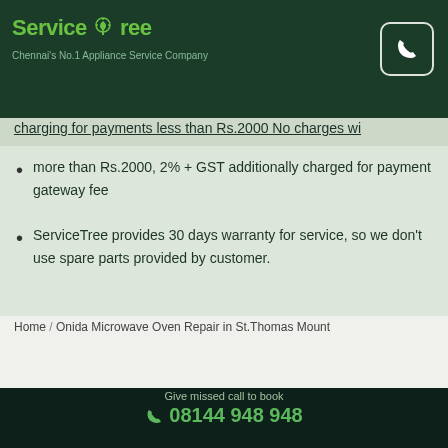ServiceTree — Chennai's No.1 Appliance Service Company
charging for payment less than Rs.2000 No charges, more than Rs.2000, 2% + GST additionally charged for payment gateway fee
ServiceTree provides 30 days warranty for service, so we don't use spare parts provided by customer.
Home / Onida Microwave Oven Repair in St.Thomas Mount
Onida Microwave Oven Repair in St.Thomas Mount
Give missed call to book 08144 948 948